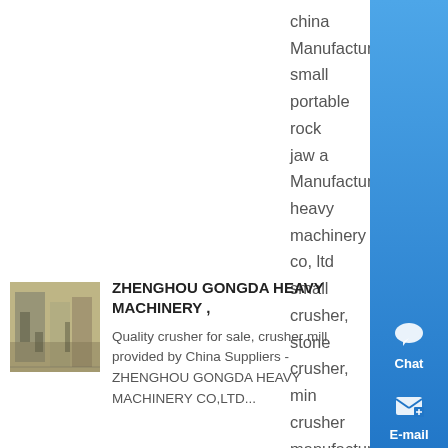china Manufacturer small portable rock jaw a Manufacturer heavy machinery co, ltd small crusher, stone crusher, min crusher manufacturer / supplier in china south africa gold milling equipment previous wet ball mill kaolin next rolling mill in palwal stump grinders from china salt pepprer mills Zhengzhou ....
Know More
[Figure (photo): Industrial machinery or building interior photo, yellowish-gray tones]
ZHENGHOU GONGDA HEAVY MACHINERY ,
Quality crusher for sale, crusher mill provided by China Suppliers - ZHENGHOU GONGDA HEAVY MACHINERY CO,LTD...